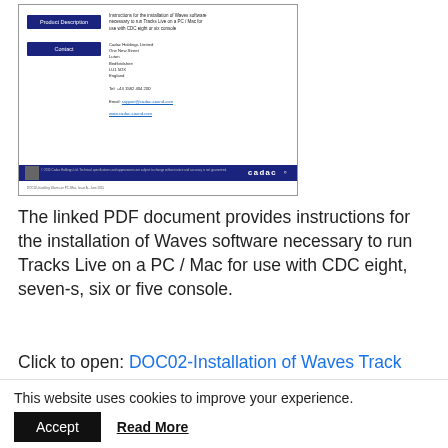[Figure (screenshot): Thumbnail of a CADAC PDF document showing Product Description and Contact sections with Cadac Holdings Limited address details and a dark blue footer with CADAC logo]
The linked PDF document provides instructions for the installation of Waves software necessary to run Tracks Live on a PC / Mac for use with CDC eight, seven-s, six or five console.
Click to open: DOC02-Installation of Waves Track Live on a PC/Mac
This website uses cookies to improve your experience.